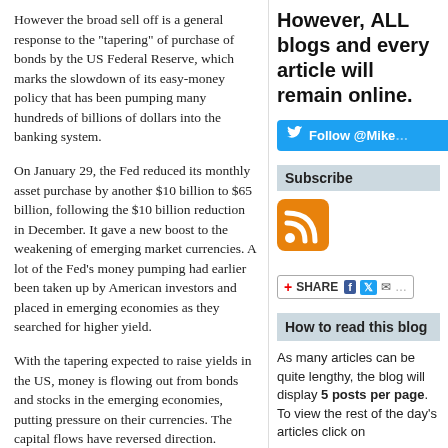However the broad sell off is a general response to the "tapering" of purchase of bonds by the US Federal Reserve, which marks the slowdown of its easy-money policy that has been pumping many hundreds of billions of dollars into the banking system.
On January 29, the Fed reduced its monthly asset purchase by another $10 billion to $65 billion, following the $10 billion reduction in December. It gave a new boost to the weakening of emerging market currencies. A lot of the Fed's money pumping had earlier been taken up by American investors and placed in emerging economies as they searched for higher yield.
With the tapering expected to raise yields in the US, money is flowing out from bonds and stocks in the emerging economies, putting pressure on their currencies. The capital flows have reversed direction.
The current “emerging markets sell-off” thus cannot be explained by ad hoc events. It is a predictable and even inevitable part of a boom-
However, ALL blogs and every article will remain online.
[Figure (other): Twitter Follow @Mike button in blue]
Subscribe
[Figure (other): RSS feed orange icon]
[Figure (other): Share bar with Facebook, Twitter, and email icons]
How to read this blog
As many articles can be quite lengthy, the blog will display 5 posts per page. To view the rest of the day's articles click on